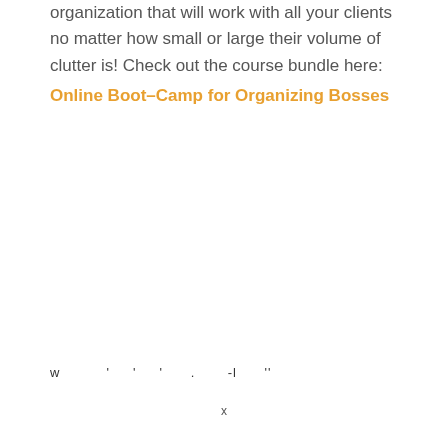organization that will work with all your clients no matter how small or large their volume of clutter is! Check out the course bundle here:
Online Boot-Camp for Organizing Bosses
w          '     '     '      .       -l      ''
x